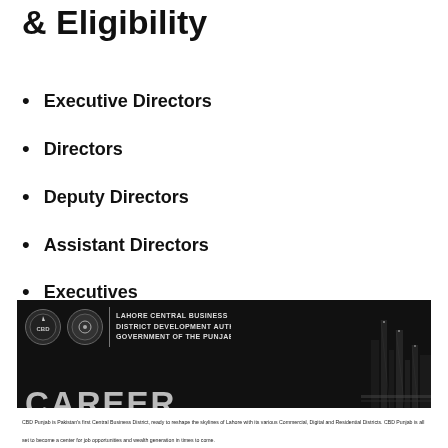& Eligibility
Executive Directors
Directors
Deputy Directors
Assistant Directors
Executives
Officers
Drivers
[Figure (photo): LAHORE CENTRAL BUSINESS DISTRICT DEVELOPMENT AUTHORITY GOVERNMENT OF THE PUNJAB - CAREER OPPORTUNITIES banner with city skyline silhouette on dark background. Logos of CBD Punjab and Government of Punjab. Text at bottom: CBD Punjab is Pakistan's first Central Business District, ready to reshape the skylines of Lahore with its various Commercial, Digital and Residential Districts. CBD Punjab is all set to become a center for job opportunities and wealth generation in times to come.]